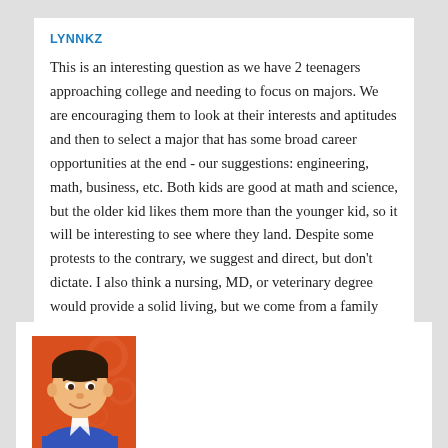LYNNKZ
This is an interesting question as we have 2 teenagers approaching college and needing to focus on majors. We are encouraging them to look at their interests and aptitudes and then to select a major that has some broad career opportunities at the end - our suggestions: engineering, math, business, etc. Both kids are good at math and science, but the older kid likes them more than the younger kid, so it will be interesting to see where they land. Despite some protests to the contrary, we suggest and direct, but don't dictate. I also think a nursing, MD, or veterinary degree would provide a solid living, but we come from a family with weak stomachs:).
REPLY
[Figure (photo): Cartoon avatar of a man with dark hair wearing a blue shirt, shown from shoulders up against an orange background with circle patterns]
ERNEST S.
I feel like my MBA really helped to jump-start my career. It's not only the